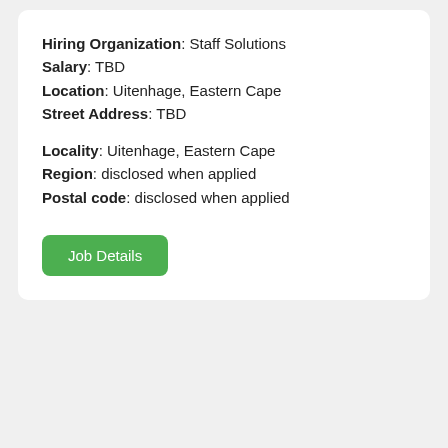Hiring Organization: Staff Solutions
Salary: TBD
Location: Uitenhage, Eastern Cape
Street Address: TBD
Locality: Uitenhage, Eastern Cape
Region: disclosed when applied
Postal code: disclosed when applied
Job Details